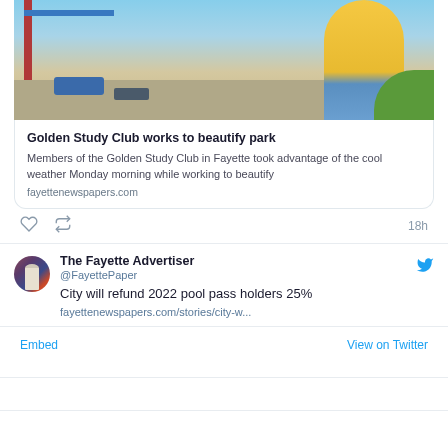[Figure (photo): Person in yellow shirt bending over paint trays at a park, with red/blue playground equipment visible]
Golden Study Club works to beautify park
Members of the Golden Study Club in Fayette took advantage of the cool weather Monday morning while working to beautify
fayettenewspapers.com
18h
The Fayette Advertiser @FayettePaper
City will refund 2022 pool pass holders 25%
fayettenewspapers.com/stories/city-w...
Embed
View on Twitter